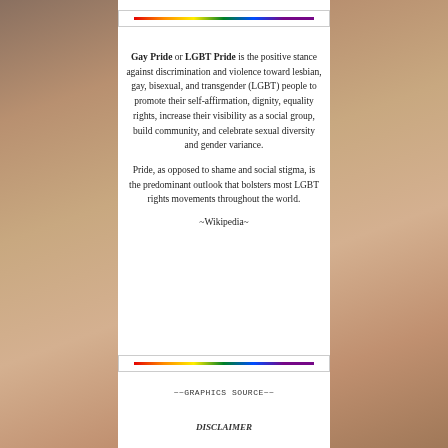[Figure (illustration): Rainbow pride decorative bar at top of white panel]
Gay Pride or LGBT Pride is the positive stance against discrimination and violence toward lesbian, gay, bisexual, and transgender (LGBT) people to promote their self-affirmation, dignity, equality rights, increase their visibility as a social group, build community, and celebrate sexual diversity and gender variance.
Pride, as opposed to shame and social stigma, is the predominant outlook that bolsters most LGBT rights movements throughout the world.
~Wikipedia~
[Figure (illustration): Rainbow pride decorative bar at bottom of white panel]
~~GRAPHICS SOURCE~~
DISCLAIMER